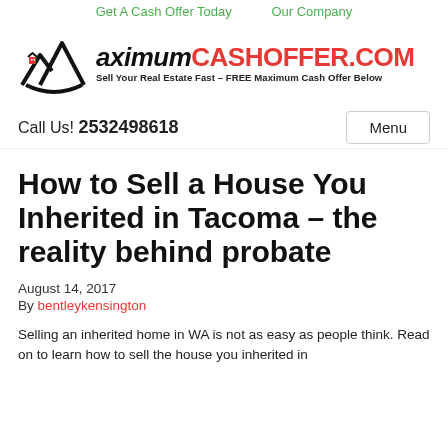Get A Cash Offer Today   Our Company
[Figure (logo): MaximumCashOffer.com logo with house/mountains icon and tagline: Sell Your Real Estate Fast – FREE Maximum Cash Offer Below]
Call Us! 2532498618
How to Sell a House You Inherited in Tacoma – the reality behind probate
August 14, 2017
By bentleykensington
Selling an inherited home in WA is not as easy as people think. Read on to learn how to sell the house you inherited in